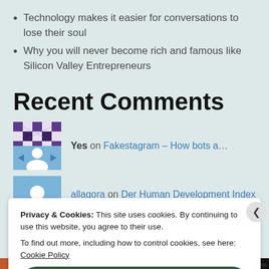Technology makes it easier for conversations to lose their soul
Why you will never become rich and famous like Silicon Valley Entrepreneurs
Recent Comments
Yes on Fakestagram – How bots a…
allagora on Der Human Development Index (H…
Privacy & Cookies: This site uses cookies. By continuing to use this website, you agree to their use. To find out more, including how to control cookies, see here: Cookie Policy
Close and accept